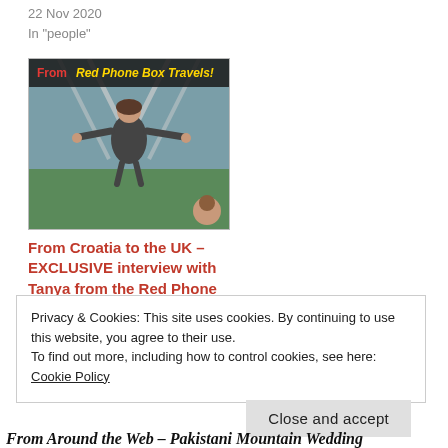22 Nov 2020
In "people"
[Figure (photo): Thumbnail image for 'From Croatia to the UK – EXCLUSIVE interview with Tanya from the Red Phone Box Travels!' showing a woman with arms spread wide, with text overlay 'From Red Phone Box Travels!']
From Croatia to the UK – EXCLUSIVE interview with Tanya from the Red Phone Box Travels!
18 Oct 2020
In "people"
Privacy & Cookies: This site uses cookies. By continuing to use this website, you agree to their use.
To find out more, including how to control cookies, see here: Cookie Policy
Close and accept
From Around the Web – Pakistani Mountain Wedding